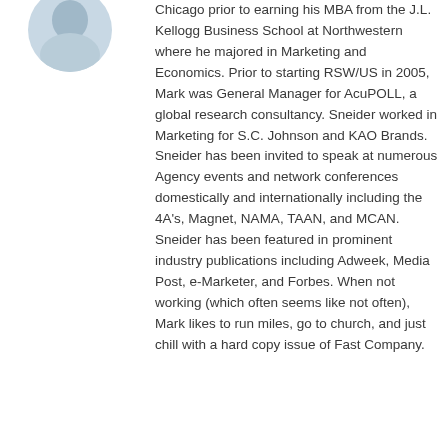[Figure (photo): Circular cropped portrait photo of a person, partially visible at top left corner of the page]
Chicago prior to earning his MBA from the J.L. Kellogg Business School at Northwestern where he majored in Marketing and Economics. Prior to starting RSW/US in 2005, Mark was General Manager for AcuPOLL, a global research consultancy. Sneider worked in Marketing for S.C. Johnson and KAO Brands. Sneider has been invited to speak at numerous Agency events and network conferences domestically and internationally including the 4A's, Magnet, NAMA, TAAN, and MCAN. Sneider has been featured in prominent industry publications including Adweek, Media Post, e-Marketer, and Forbes. When not working (which often seems like not often), Mark likes to run miles, go to church, and just chill with a hard copy issue of Fast Company.